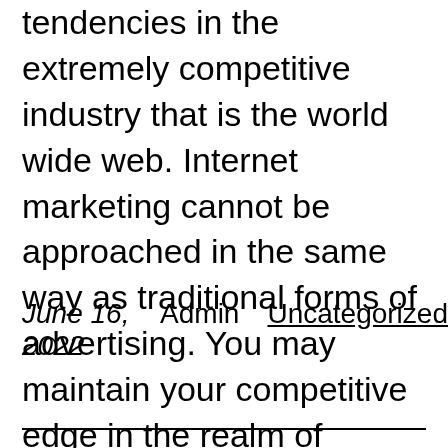tendencies in the extremely competitive industry that is the world wide web. Internet marketing cannot be approached in the same way as traditional forms of advertising. You may maintain your competitive edge in the realm of internet-based business by familiarising yourself with both how this operates and what its implications are for you.
June 16, 2022   Admin   Uncategorized